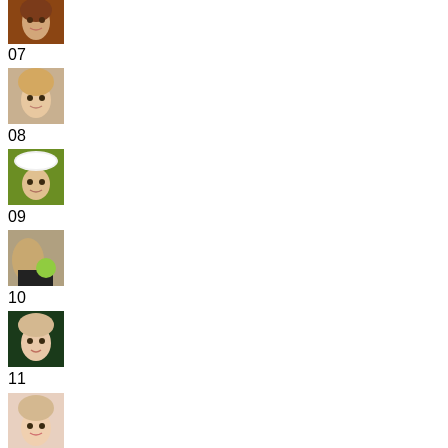[Figure (photo): Small portrait photo of a person, item 07]
07
[Figure (photo): Small portrait photo of a person, item 08]
08
[Figure (photo): Small photo of a person wearing a hat, item 09]
09
[Figure (photo): Small close-up photo, item 10]
10
[Figure (photo): Small photo of a person on bicycle, item 11]
11
[Figure (photo): Small portrait photo of a person, item 12]
12